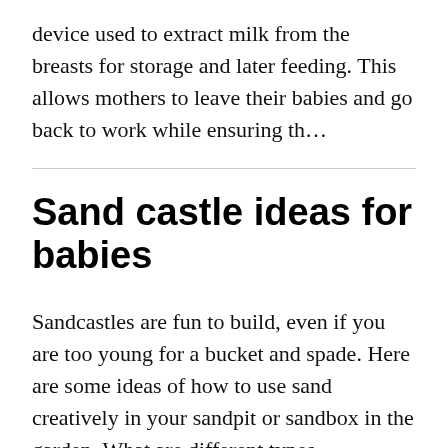device used to extract milk from the breasts for storage and later feeding. This allows mothers to leave their babies and go back to work while ensuring th…
Sand castle ideas for babies
Sandcastles are fun to build, even if you are too young for a bucket and spade. Here are some ideas of how to use sand creatively in your sandpit or sandbox in the garden. What are different types…